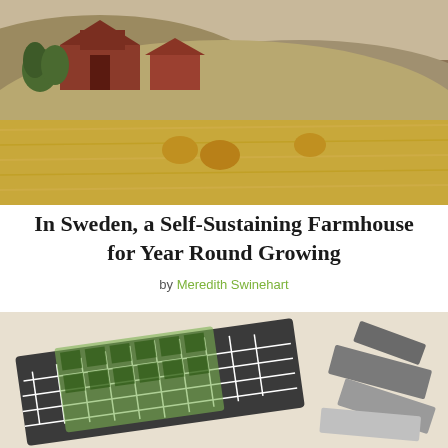[Figure (photo): Aerial view of a Swedish farmhouse surrounded by golden hay fields with round hay bales scattered on rolling hills]
In Sweden, a Self-Sustaining Farmhouse for Year Round Growing
by Meredith Swinehart
[Figure (photo): Close-up photo of architectural floor plan printouts and material sample cards laid out on a white surface]